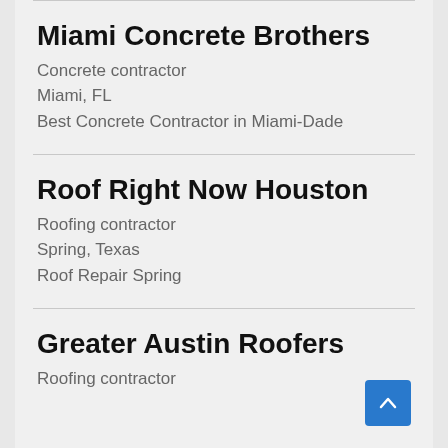Miami Concrete Brothers
Concrete contractor
Miami, FL
Best Concrete Contractor in Miami-Dade
Roof Right Now Houston
Roofing contractor
Spring, Texas
Roof Repair Spring
Greater Austin Roofers
Roofing contractor